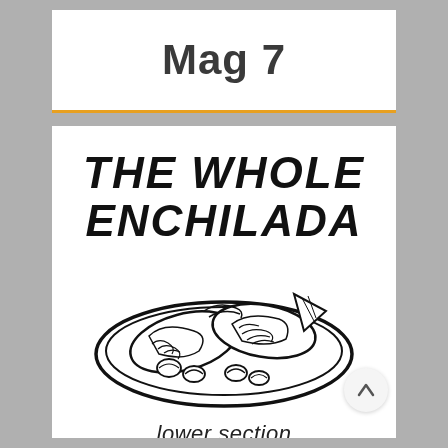Mag 7
[Figure (illustration): Black and white illustration of a plate of enchiladas with beans and toppings, with bold text reading THE WHOLE ENCHILADA above the plate, and 'lower section' partially visible below]
lower section